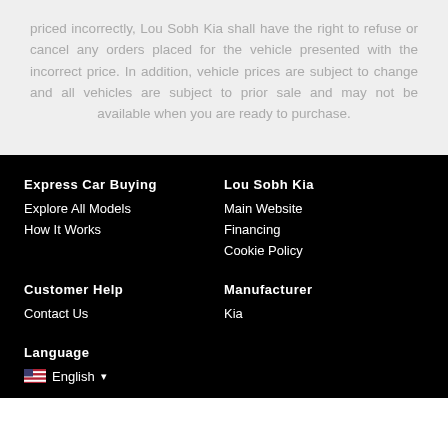priced incorrectly, Lou Sobh Kia shall have the right to refuse or cancel any orders placed for the vehicle presented with the incorrect price. In addition, vehicle prices are subject to change and all vehicles are subject to prior sale and may not be available when you are ready to purchase.
Express Car Buying
Explore All Models
How It Works
Lou Sobh Kia
Main Website
Financing
Cookie Policy
Customer Help
Contact Us
Manufacturer
Kia
Language
English